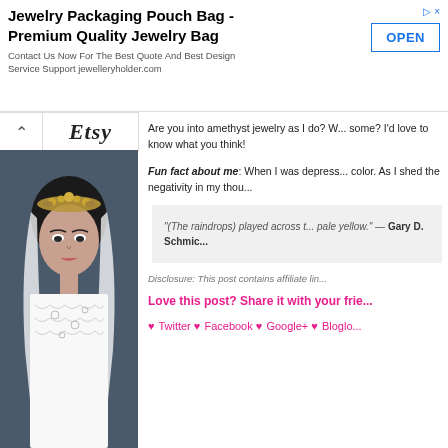[Figure (infographic): Advertisement banner for Jewelry Packaging Pouch Bag - Premium Quality Jewelry Bag with OPEN button]
Jewelry Packaging Pouch Bag - Premium Quality Jewelry Bag
Contact Us Now For The Best Quote And Best Design Service Support jewelleryholder.com
[Figure (photo): Etsy logo bar with back arrow and bride photo below wearing gold crown/tiara and white lace dress with veil]
Are you into amethyst jewelry as I do? W... some? I'd love to know what you think!
Fun fact about me: When I was depress... color. As I shed the negativity in my thou...
"(The raindrops) played across t... pale yellow." — Gary D. Schmic...
Disclosure: This post contains affiliate lin...
Love this post? Share it with your frie...
♥ Twitter ♥ Facebook ♥ Google+ ♥ Bloglo...